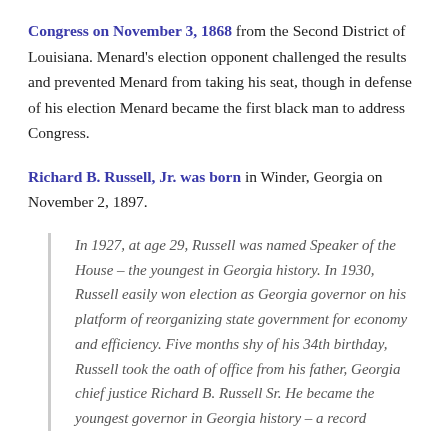Congress on November 3, 1868 from the Second District of Louisiana. Menard's election opponent challenged the results and prevented Menard from taking his seat, though in defense of his election Menard became the first black man to address Congress.
Richard B. Russell, Jr. was born in Winder, Georgia on November 2, 1897.
In 1927, at age 29, Russell was named Speaker of the House – the youngest in Georgia history. In 1930, Russell easily won election as Georgia governor on his platform of reorganizing state government for economy and efficiency. Five months shy of his 34th birthday, Russell took the oath of office from his father, Georgia chief justice Richard B. Russell Sr. He became the youngest governor in Georgia history – a record